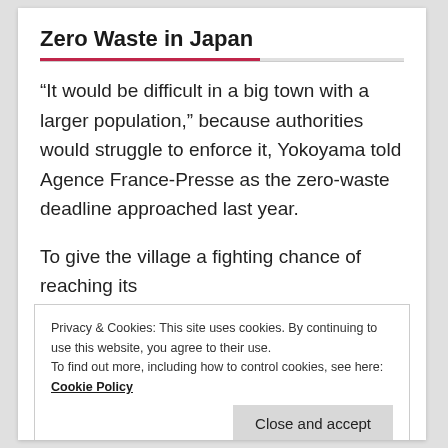Zero Waste in Japan
“It would be difficult in a big town with a larger population,” because authorities would struggle to enforce it, Yokoyama told Agence France-Presse as the zero-waste deadline approached last year.
To give the village a fighting chance of reaching its
Privacy & Cookies: This site uses cookies. By continuing to use this website, you agree to their use.
To find out more, including how to control cookies, see here: Cookie Policy
The points can then be used to buy other items.
Sakano said the future of the zero-waste project